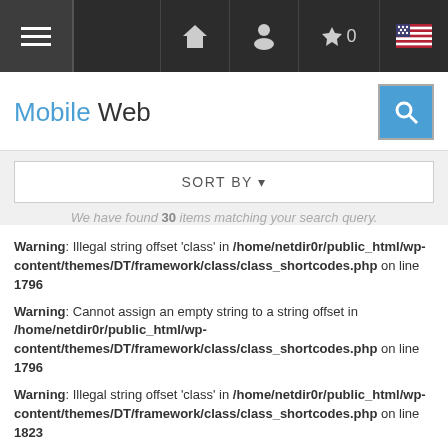Mobile Web (navigation bar with menu, home, user, star 0, flag icons)
Mobile Web
SORT BY ▾
We have found 30 items matching your search query.
Warning: Illegal string offset 'class' in /home/netdir0r/public_html/wp-content/themes/DT/framework/class/class_shortcodes.php on line 1796
Warning: Cannot assign an empty string to a string offset in /home/netdir0r/public_html/wp-content/themes/DT/framework/class/class_shortcodes.php on line 1796
Warning: Illegal string offset 'class' in /home/netdir0r/public_html/wp-content/themes/DT/framework/class/class_shortcodes.php on line 1823
Animal Shelter
WAGS Pet Adoption shelters and cares for